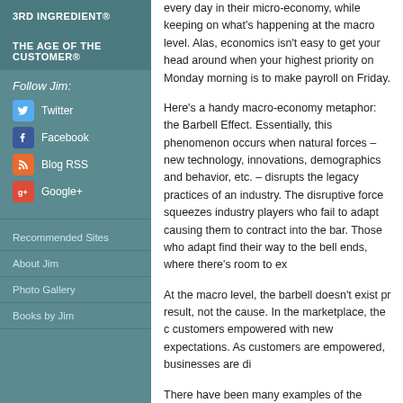3RD INGREDIENT®
THE AGE OF THE CUSTOMER®
Follow Jim:
Twitter
Facebook
Blog RSS
Google+
Recommended Sites
About Jim
Photo Gallery
Books by Jim
every day in their micro-economy, while keeping on what's happening at the macro level. Alas, economics isn't easy to get your head around when your highest priority on Monday morning is to make payroll on Friday.
Here's a handy macro-economy metaphor: the Barbell Effect. Essentially, this phenomenon occurs when natural forces – new technology, innovations, demographics and behavior, etc. – disrupts the legacy practices of an industry. The disruptive force squeezes industry players who fail to adapt causing them to contract into the bar. Those who adapt find their way to the bell ends, where there's room to expand.
At the macro level, the barbell doesn't exist primarily as a result, not the cause. In the marketplace, the cause is customers empowered with new expectations. As customers are empowered, businesses are disrupted.
There have been many examples of the Barbell Effect, some even global. I read recently about a housing market where the high and low ends – the bells – were selling well, while the bar – not so much. The American banking has seen the Barbell Effect this century. As big banks got bigger, community banks hung in there on the other end.